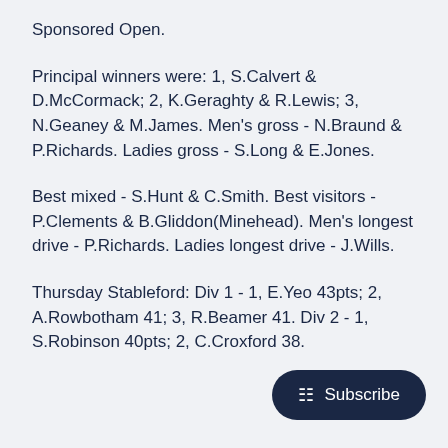Sponsored Open.
Principal winners were: 1, S.Calvert & D.McCormack; 2, K.Geraghty & R.Lewis; 3, N.Geaney & M.James. Men's gross - N.Braund & P.Richards. Ladies gross - S.Long & E.Jones.
Best mixed - S.Hunt & C.Smith. Best visitors - P.Clements & B.Gliddon(Minehead). Men's longest drive - P.Richards. Ladies longest drive - J.Wills.
Thursday Stableford: Div 1 - 1, E.Yeo 43pts; 2, A.Rowbotham 41; 3, R.Beamer 41. Div 2 - 1, S.Robinson 40pts; 2, C.Croxford 38.